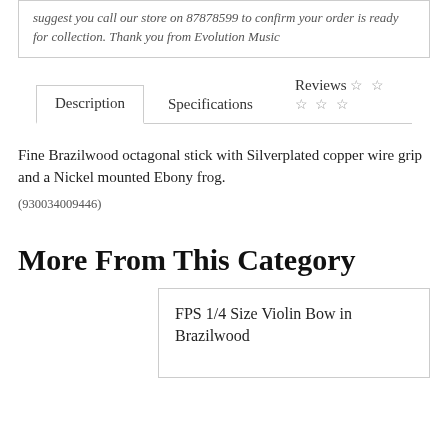suggest you call our store on 87878599 to confirm your order is ready for collection. Thank you from Evolution Music
Description   Specifications   Reviews ☆☆☆☆☆
Fine Brazilwood octagonal stick with Silverplated copper wire grip and a Nickel mounted Ebony frog.
(930034009446)
More From This Category
FPS 1/4 Size Violin Bow in Brazilwood